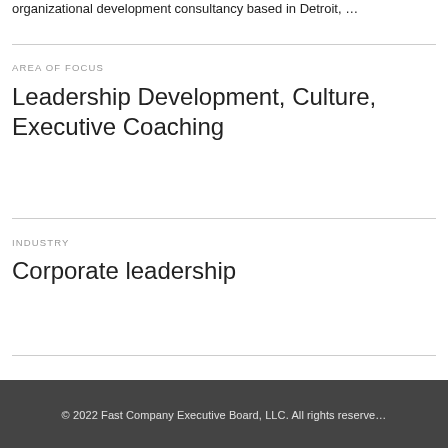organizational development consultancy based in Detroit, …
AREA OF FOCUS
Leadership Development, Culture, Executive Coaching
INDUSTRY
Corporate leadership
© 2022 Fast Company Executive Board, LLC. All rights reserve…